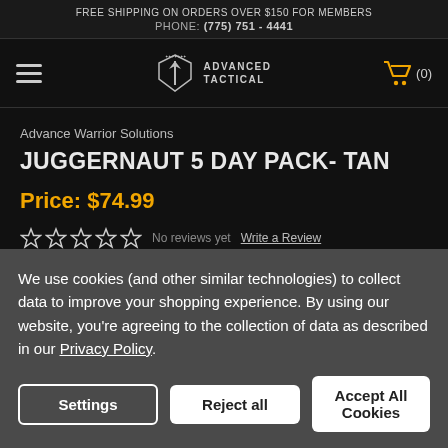FREE SHIPPING ON ORDERS OVER $150 FOR MEMBERS
PHONE: (775) 751 - 4441
[Figure (logo): Advanced Tactical logo with navigation hamburger menu and cart icon showing (0) items]
Advance Warrior Solutions
JUGGERNAUT 5 DAY PACK- TAN
Price: $74.99
★☆☆☆☆ No reviews yet  Write a Review
We use cookies (and other similar technologies) to collect data to improve your shopping experience. By using our website, you're agreeing to the collection of data as described in our Privacy Policy.